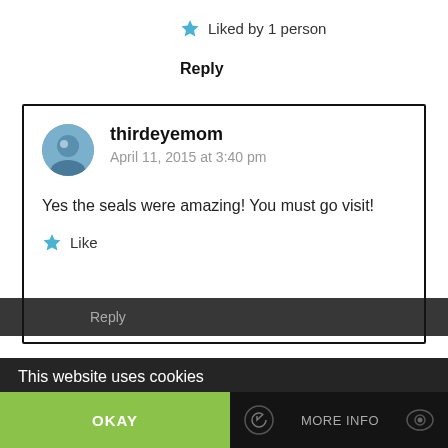Liked by 1 person
Reply
thirdeyemom
April 11, 2015 at 3:40 pm
Yes the seals were amazing! You must go visit!
Like
Reply
This website uses cookies
OKAY
MORE INFO